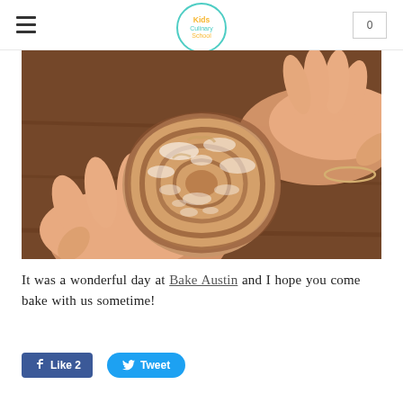Kids Culinary School
[Figure (photo): A hand holding a homemade cinnamon roll dusted with powdered sugar, photographed against a wooden table background.]
It was a wonderful day at Bake Austin and I hope you come bake with us sometime!